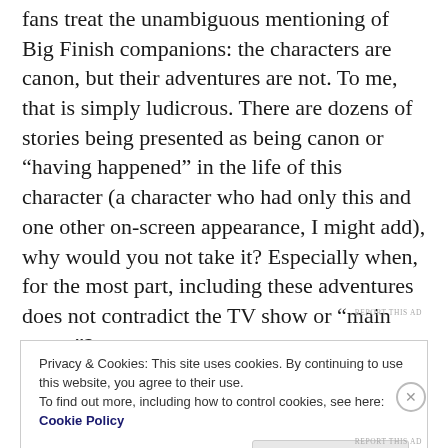fans treat the unambiguous mentioning of Big Finish companions: the characters are canon, but their adventures are not. To me, that is simply ludicrous. There are dozens of stories being presented as being canon or “having happened” in the life of this character (a character who had only this and one other on-screen appearance, I might add), why would you not take it? Especially when, for the most part, including these adventures does not contradict the TV show or “main canon”?
REPORT THIS AD
Privacy & Cookies: This site uses cookies. By continuing to use this website, you agree to their use.
To find out more, including how to control cookies, see here: Cookie Policy
Close and accept